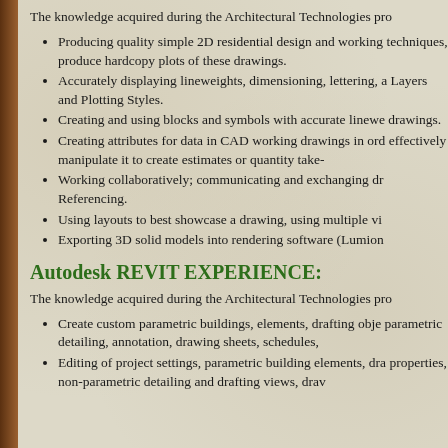The knowledge acquired during the Architectural Technologies pro
Producing quality simple 2D residential design and working techniques, produce hardcopy plots of these drawings.
Accurately displaying lineweights, dimensioning, lettering, a Layers and Plotting Styles.
Creating and using blocks and symbols with accurate linewe drawings.
Creating attributes for data in CAD working drawings in ord effectively manipulate it to create estimates or quantity take-
Working collaboratively; communicating and exchanging dr Referencing.
Using layouts to best showcase a drawing, using multiple vi
Exporting 3D solid models into rendering software (Lumion
Autodesk REVIT EXPERIENCE:
The knowledge acquired during the Architectural Technologies pro
Create custom parametric buildings, elements, drafting obje parametric detailing, annotation, drawing sheets, schedules,
Editing of project settings, parametric building elements, dra properties, non-parametric detailing and drafting views, drav